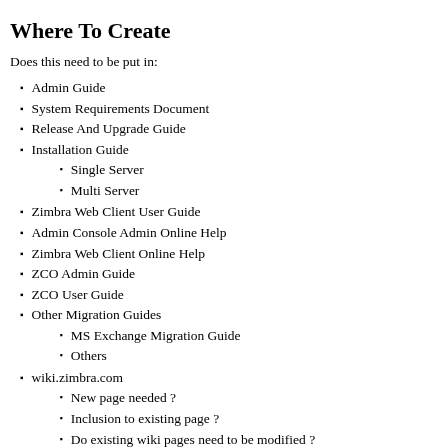Where To Create
Does this need to be put in:
Admin Guide
System Requirements Document
Release And Upgrade Guide
Installation Guide
Single Server
Multi Server
Zimbra Web Client User Guide
Admin Console Admin Online Help
Zimbra Web Client Online Help
ZCO Admin Guide
ZCO User Guide
Other Migration Guides
MS Exchange Migration Guide
Others
wiki.zimbra.com
New page needed ?
Inclusion to existing page ?
Do existing wiki pages need to be modified ?
Note - later this will be the "Zimbra Information Center"